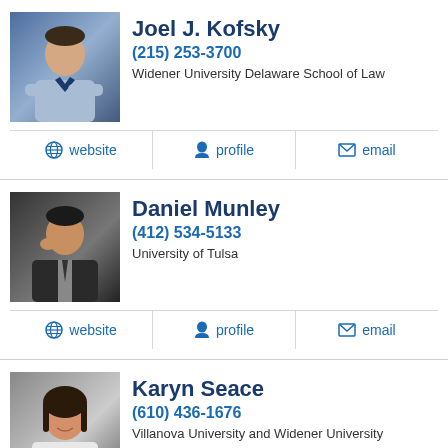[Figure (photo): Headshot of Joel J. Kofsky, a man in a light blue suit with arms crossed, city background]
Joel J. Kofsky
(215) 253-3700
Widener University Delaware School of Law
website  profile  email
[Figure (photo): Headshot of Daniel Munley, a man in a dark suit with hand near face, dark background]
Daniel Munley
(412) 534-5133
University of Tulsa
website  profile  email
[Figure (photo): Headshot of Karyn Seace, a woman with dark hair, smiling]
Karyn Seace
(610) 436-1676
Villanova University and Widener University